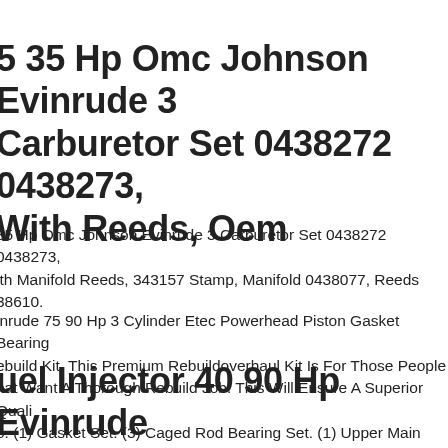5 35 Hp Omc Johnson Evinrude 3 Carburetor Set 0438272 0438273, With Reeds, Oem
35 Hp Omc Johnson Evinrude 3 Carburetor Set 0438272 0438273, ith Manifold Reeds, 343157 Stamp, Manifold 0438077, Reeds 38610.
inrude 75 90 Hp 3 Cylinder Etec Powerhead Piston Gasket Bearing ebuild Kit. This Premium Rebuildoverhaul Kit Is For Those People hat Want A Thorough Rebuild Job. This Will Ensure A Superior Quali o. (1) Gasket Set. (3) Caged Rod Bearing Set. (1) Upper Main Bearing Wrist Pin Bearing Set.
uel Injector 40 90 Hp Evinrude Johnson Brp 1 Dea 5006000...